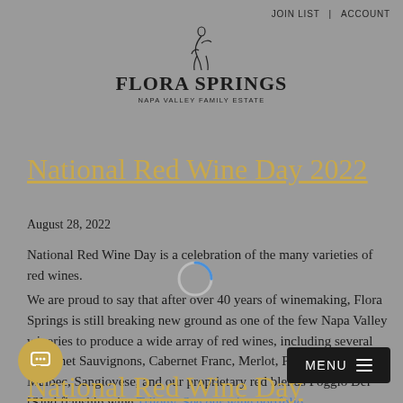JOIN LIST   ACCOUNT
[Figure (logo): Flora Springs Napa Valley Family Estate logo with stylized figure and winery name]
National Red Wine Day 2022
August 28, 2022
National Red Wine Day is a celebration of the many varieties of red wines.
We are proud to say that after over 40 years of winemaking, Flora Springs is still breaking new ground as one of the few Napa Valley wineries to produce a wide array of red wines, including several Cabernet Sauvignons, Cabernet Franc, Merlot, Petit Verdot, Malbec, Sangiovese, and our proprietary red blends Poggio Del [S]and flagship wine Trilogy. See our wine portfolio.
National Red Wine Day